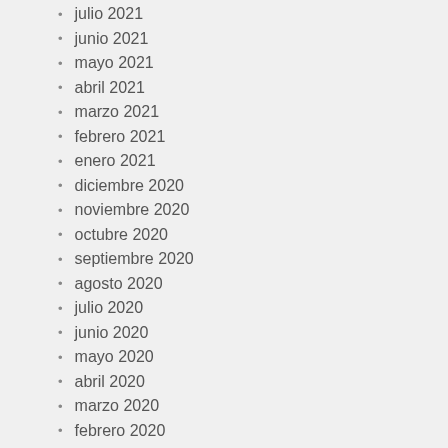julio 2021
junio 2021
mayo 2021
abril 2021
marzo 2021
febrero 2021
enero 2021
diciembre 2020
noviembre 2020
octubre 2020
septiembre 2020
agosto 2020
julio 2020
junio 2020
mayo 2020
abril 2020
marzo 2020
febrero 2020
enero 2020